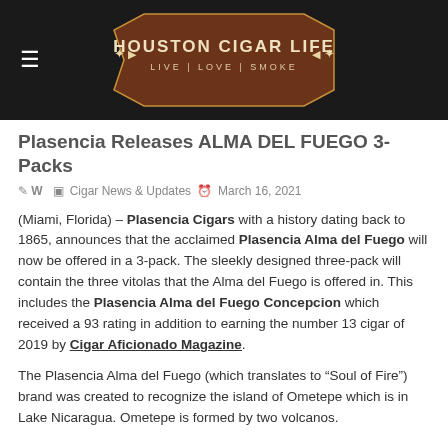[Figure (logo): Houston Cigar Life logo — brown hexagon/lens shape with text 'HOUSTON CIGAR LIFE' and tagline 'LIVE | LOVE | SMOKE' on dark background header bar]
Plasencia Releases ALMA DEL FUEGO 3-Packs
W  Cigar News & Updates  March 16, 2021
(Miami, Florida) – Plasencia Cigars with a history dating back to 1865, announces that the acclaimed Plasencia Alma del Fuego will now be offered in a 3-pack. The sleekly designed three-pack will contain the three vitolas that the Alma del Fuego is offered in. This includes the Plasencia Alma del Fuego Concepcion which received a 93 rating in addition to earning the number 13 cigar of 2019 by Cigar Aficionado Magazine.
The Plasencia Alma del Fuego (which translates to “Soul of Fire”) brand was created to recognize the island of Ometepe which is in Lake Nicaragua. Ometepe is formed by two volcanos.